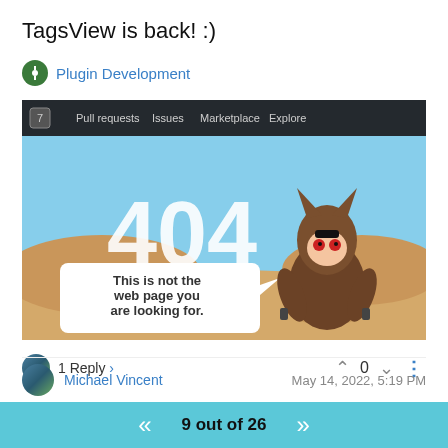TagsView is back! :)
Plugin Development
Log in to reply
[Figure (screenshot): GitHub 404 error page screenshot showing '404' in large text and a GitHub mascot dressed in a brown robe with text 'This is not the web page you are looking for.' Navigation bar at top shows Pull requests, Issues, Marketplace, Explore.]
1 Reply >
0
Michael Vincent
May 14, 2022, 5:19 PM
9 out of 26